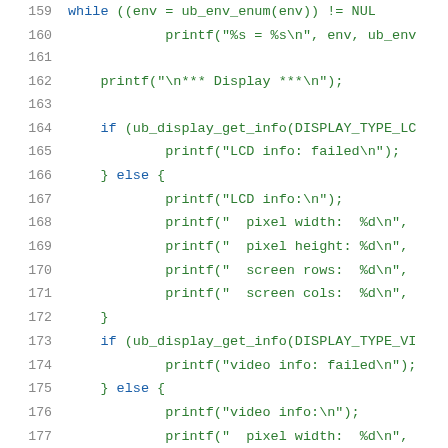Source code listing, lines 159–180, showing C printf and ub_display_get_info calls